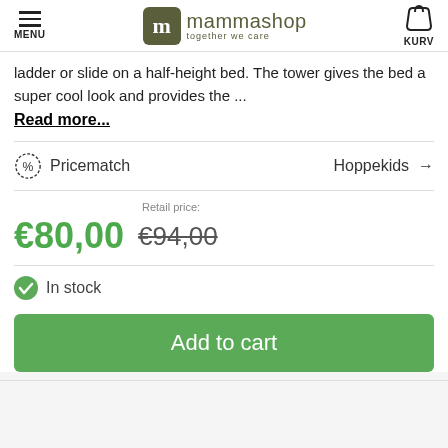mammashop together we care | MENU | KURV
ladder or slide on a half-height bed. The tower gives the bed a super cool look and provides the ...
Read more...
Pricematch   Hoppekids →
Retail price: €94,00   Current price: €80,00
In stock
Add to cart